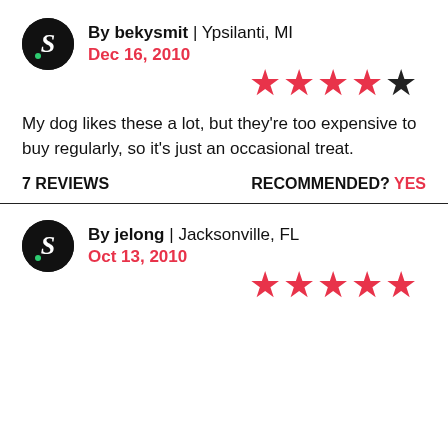By bekysmit | Ypsilanti, MI
Dec 16, 2010
[Figure (other): 4 out of 5 stars rating]
My dog likes these a lot, but they're too expensive to buy regularly, so it's just an occasional treat.
7 REVIEWS    RECOMMENDED? YES
By jelong | Jacksonville, FL
Oct 13, 2010
[Figure (other): 5 out of 5 stars rating]